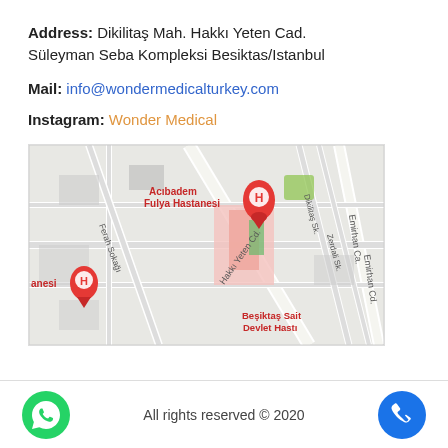Address: Dikilitaş Mah. Hakkı Yeten Cad. Süleyman Seba Kompleksi Besiktas/Istanbul
Mail: info@wondermedicalturkey.com
Instagram: Wonder Medical
[Figure (map): Google Maps screenshot showing the area near Acıbadem Fulya Hastanesi and Beşiktaş Sait Devlet Hastanesi, with Hakkı Yeten Cd. and Emirhan Cd. streets visible.]
All rights reserved © 2020